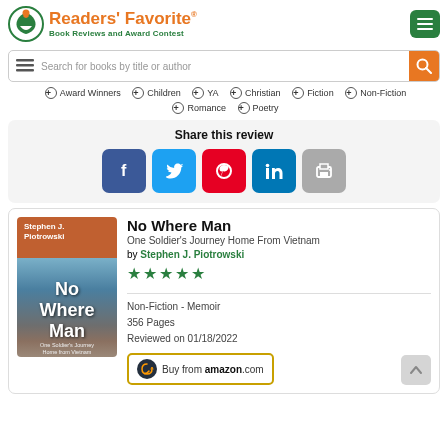Readers' Favorite® — Book Reviews and Award Contest
Search for books by title or author
Award Winners · Children · YA · Christian · Fiction · Non-Fiction · Romance · Poetry
Share this review
[Figure (screenshot): Social share buttons: Facebook, Twitter, Pinterest, LinkedIn, Print]
No Where Man
One Soldier's Journey Home From Vietnam
by Stephen J. Piotrowski
★★★★★
Non-Fiction - Memoir
356 Pages
Reviewed on 01/18/2022
[Figure (illustration): Book cover of No Where Man by Stephen J. Piotrowski]
Buy from amazon.com